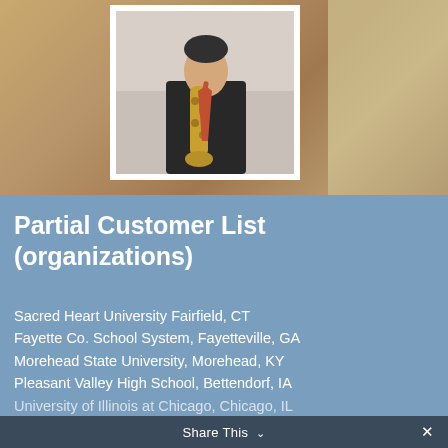[Figure (photo): A person playing a saxophone, shown in a white-framed photo against a blurred warm-toned background of brass instruments.]
Partial Customer List (organizations)
Sacred Heart University Fairfield, CT
Fayette Co. School System, Fayetteville, GA
Morehead State University, Morehead, KY
Pleasant Valley High School, Bettendorf, IA
University of Illinois at Chicago, Chicago, IL
Novi Community School District, Novi, MI
Share This ✓  ✕